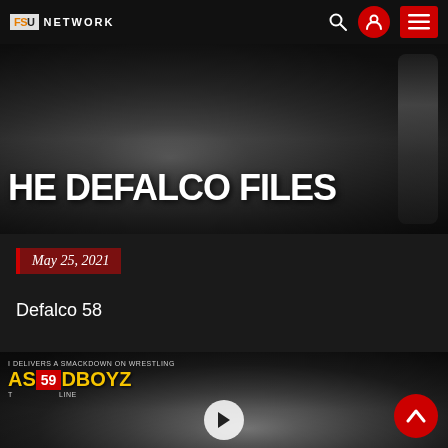FSU NETWORK
[Figure (photo): Close-up black and white photo of a man's beard and a microphone, dramatic low-key lighting]
HE DEFALCO FILES
May 25, 2021
Defalco 58
[Figure (photo): Black and white close-up of a man's face with dreadlocks, second episode card showing episode 59 with yellow text 'ASS DBOYZ' and red episode number badge, play button at bottom center]